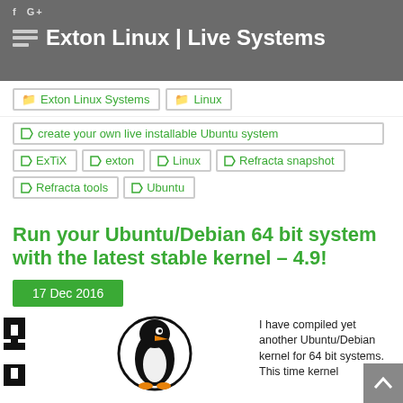Exton Linux | Live Systems
Exton Linux Systems
Linux
create your own live installable Ubuntu system
ExTiX
exton
Linux
Refracta snapshot
Refracta tools
Ubuntu
Run your Ubuntu/Debian 64 bit system with the latest stable kernel – 4.9!
17 Dec 2016
[Figure (illustration): ExTiX penguin logo illustration showing a Tux penguin with ExTiX branding]
I have compiled yet another Ubuntu/Debian kernel for 64 bit systems. This time kernel